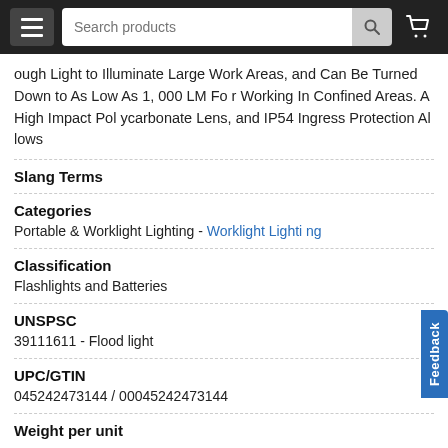Search products
ough Light to Illuminate Large Work Areas, and Can Be Turned Down to As Low As 1, 000 LM For Working In Confined Areas. A High Impact Polycarbonate Lens, and IP54 Ingress Protection Allows
Slang Terms
Categories
Portable & Worklight Lighting - Worklight Lighting
Classification
Flashlights and Batteries
UNSPSC
39111611 - Flood light
UPC/GTIN
045242473144 / 00045242473144
Weight per unit